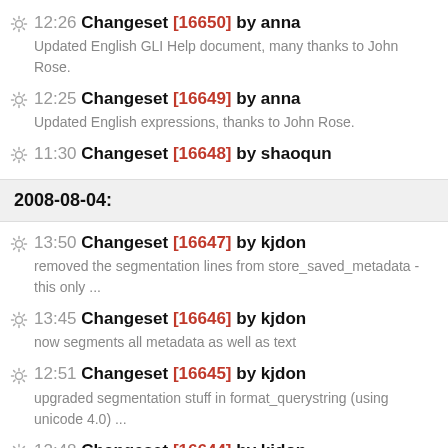12:26 Changeset [16650] by anna — Updated English GLI Help document, many thanks to John Rose.
12:25 Changeset [16649] by anna — Updated English expressions, thanks to John Rose.
11:30 Changeset [16648] by shaoqun
2008-08-04:
13:50 Changeset [16647] by kjdon — removed the segmentation lines from store_saved_metadata - this only ...
13:45 Changeset [16646] by kjdon — now segments all metadata as well as text
12:51 Changeset [16645] by kjdon — upgraded segmentation stuff in format_querystring (using unicode 4.0) ...
12:48 Changeset [16644] by kjdon